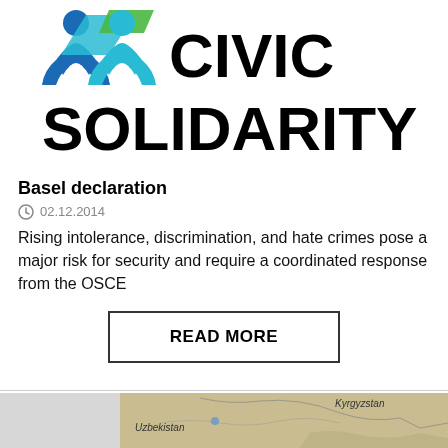[Figure (logo): Civic Solidarity logo with stylized figures in blue, cyan and green, and bold text reading CIVIC SOLIDARITY]
Basel declaration
02.12.2014
Rising intolerance, discrimination, and hate crimes pose a major risk for security and require a coordinated response from the OSCE
READ MORE
[Figure (map): Map showing Central Asia region including Kyrgyzstan and Uzbekistan]